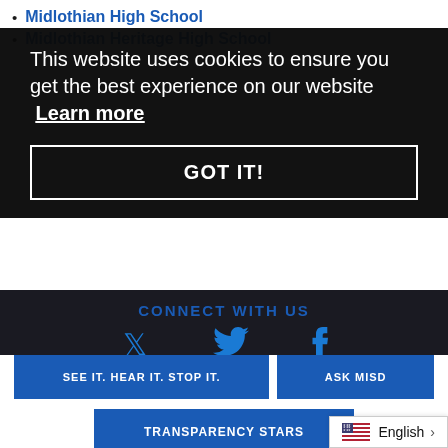Midlothian High School
Midlothian Heritage High School
This website uses cookies to ensure you get the best experience on our website  Learn more
GOT IT!
CONNECT WITH US
[Figure (illustration): Twitter and Facebook social media icons in blue]
SEE IT. HEAR IT. STOP IT.
ASK MISD
TRANSPARENCY STARS
English